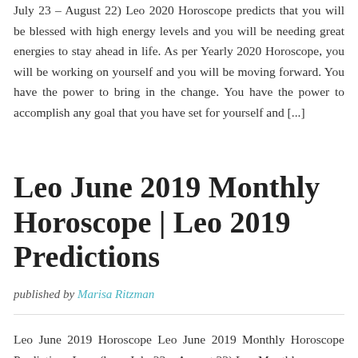July 23 – August 22) Leo 2020 Horoscope predicts that you will be blessed with high energy levels and you will be needing great energies to stay ahead in life. As per Yearly 2020 Horoscope, you will be working on yourself and you will be moving forward. You have the power to bring in the change. You have the power to accomplish any goal that you have set for yourself and [...]
Leo June 2019 Monthly Horoscope | Leo 2019 Predictions
published by Marisa Ritzman
Leo June 2019 Horoscope Leo June 2019 Monthly Horoscope Predictions Leos (born July 23 – August 22) Leo Monthly